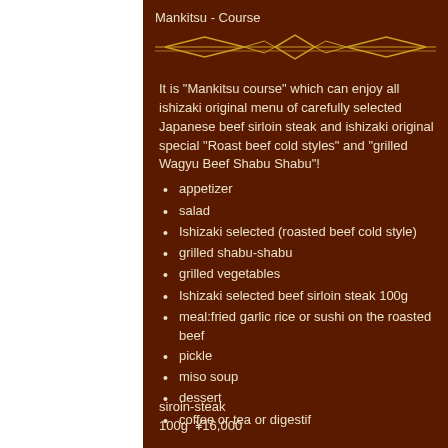Mankitsu - Course
It is "Mankitsu course" which can enjoy all ishizaki original menu of carefully selected Japanese beef sirloin steak and ishizaki original special "Roast beef cold styles" and "grilled  Wagyu Beef Shabu Shabu"!
appetizer
salad
Ishizaki selected (roasted beef cold style)
grilled shabu-shabu
grilled vegetables
Ishizaki selected beef sirloin steak 100g
meal:fried garlic rice or sushi on the roasted beef
pickle
miso soup
dessert
coffee or tea or digestif
siroin-steak
100g  ¥16,000